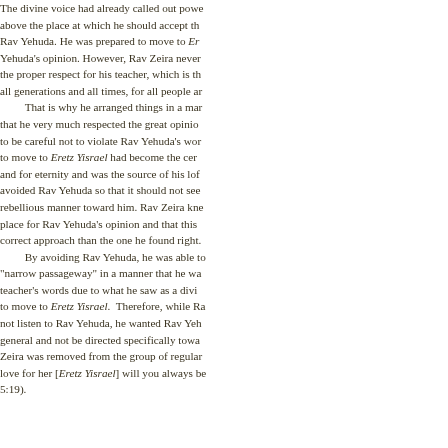The divine voice had already called out powe above the place at which he should accept th Rav Yehuda. He was prepared to move to Er Yehuda's opinion. However, Rav Zeira never the proper respect for his teacher, which is th all generations and all times, for all people ar That is why he arranged things in a mar that he very much respected the great opinio to be careful not to violate Rav Yehuda's wor to move to Eretz Yisrael had become the cer and for eternity and was the source of his lof avoided Rav Yehuda so that it should not see rebellious manner toward him. Rav Zeira kne place for Rav Yehuda's opinion and that this correct approach than the one he found right. By avoiding Rav Yehuda, he was able to "narrow passageway" in a manner that he wa teacher's words due to what he saw as a divi to move to Eretz Yisrael. Therefore, while Ra not listen to Rav Yehuda, he wanted Rav Yeh general and not be directed specifically towa Zeira was removed from the group of regular love for her [Eretz Yisrael] will you always be 5:19).